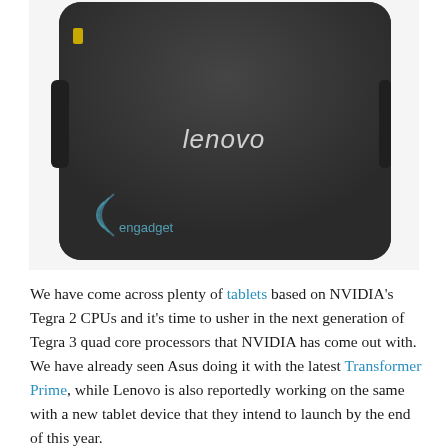[Figure (photo): Back view of a dark gray/black Lenovo tablet device with the Lenovo logo in silver italic text in the center. The Engadget watermark is visible in the lower left corner. The tablet has rounded corners and a small yellow indicator light on the left side.]
We have come across plenty of tablets based on NVIDIA's Tegra 2 CPUs and it's time to usher in the next generation of Tegra 3 quad core processors that NVIDIA has come out with. We have already seen Asus doing it with the latest Transformer Prime, while Lenovo is also reportedly working on the same with a new tablet device that they intend to launch by the end of this year.